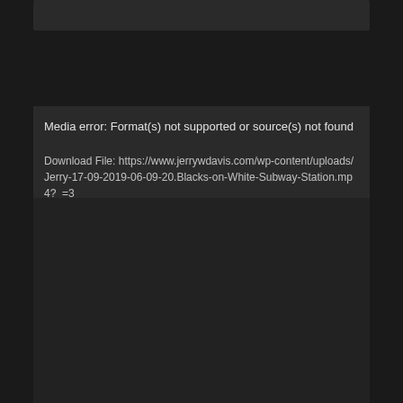Media error: Format(s) not supported or source(s) not found
Download File: https://www.jerrywdavis.com/wp-content/uploads/Jerry-17-09-2019-06-09-20.Blacks-on-White-Subway-Station.mp4?_=3